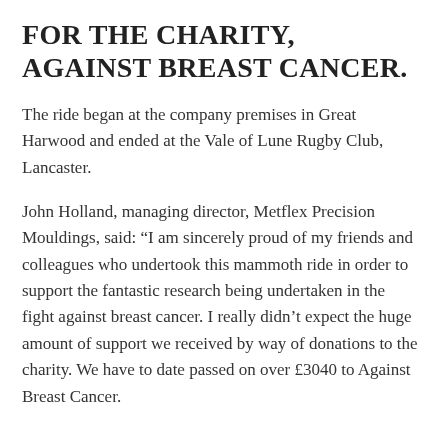FOR THE CHARITY, AGAINST BREAST CANCER.
The ride began at the company premises in Great Harwood and ended at the Vale of Lune Rugby Club, Lancaster.
John Holland, managing director, Metflex Precision Mouldings, said: “I am sincerely proud of my friends and colleagues who undertook this mammoth ride in order to support the fantastic research being undertaken in the fight against breast cancer. I really didn’t expect the huge amount of support we received by way of donations to the charity. We have to date passed on over £3040 to Against Breast Cancer.